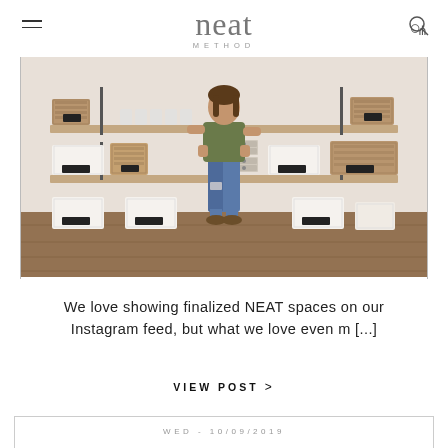neat METHOD
[Figure (photo): Woman standing in front of organized pantry shelves with baskets, bins, and jars neatly arranged on wooden shelves]
We love showing finalized NEAT spaces on our Instagram feed, but what we love even m [...]
VIEW POST >
WED - 10/09/2019